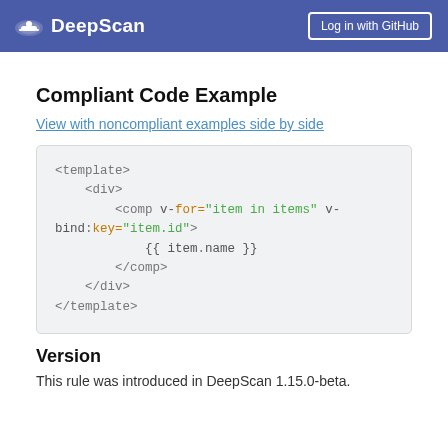DeepScan  Log in with GitHub
Compliant Code Example
View with noncompliant examples side by side
[Figure (screenshot): Code block showing Vue template with v-for and v-bind:key directives]
Version
This rule was introduced in DeepScan 1.15.0-beta.